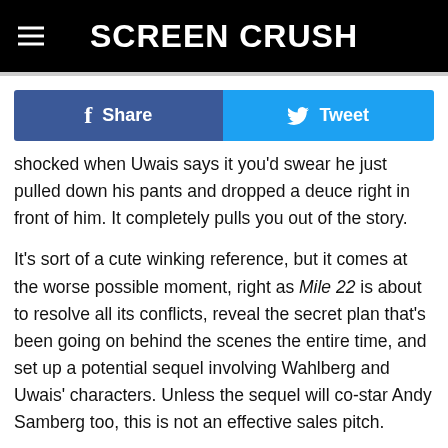SCREEN CRUSH
Share   Tweet
shocked when Uwais says it you'd swear he just pulled down his pants and dropped a deuce right in front of him. It completely pulls you out of the story.
It's sort of a cute winking reference, but it comes at the worse possible moment, right as Mile 22 is about to resolve all its conflicts, reveal the secret plan that's been going on behind the scenes the entire time, and set up a potential sequel involving Wahlberg and Uwais' characters. Unless the sequel will co-star Andy Samberg too, this is not an effective sales pitch.
Mile 22 is in theaters now. If you go see it with her, say hi to